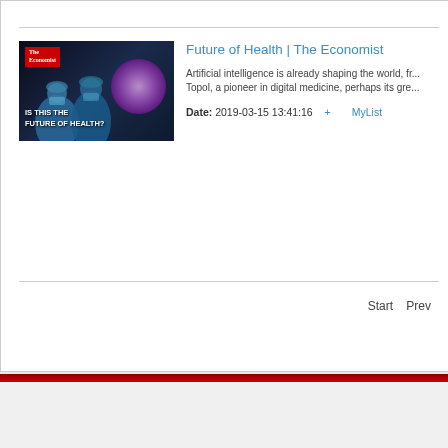[Figure (screenshot): Thumbnail image for The Economist video about Future of Health, showing surgeons in blue scrubs with a glowing brain graphic and 'IS THIS THE FUTURE OF HEALTH?' text overlay]
Future of Health | The Economist
Artificial intelligence is already shaping the world, fr... Topol, a pioneer in digital medicine, perhaps its gre...
Date: 2019-03-15 13:41:16   + MyList
Start   Prev
Community of Lights
Popular Artic...